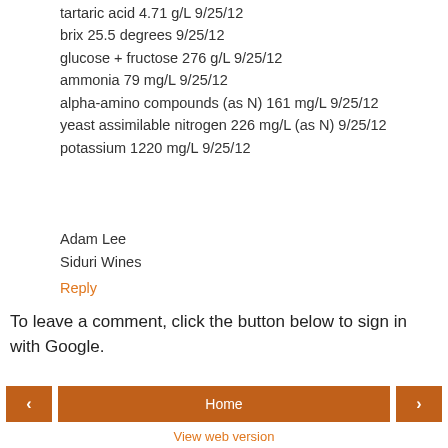tartaric acid 4.71 g/L 9/25/12
brix 25.5 degrees 9/25/12
glucose + fructose 276 g/L 9/25/12
ammonia 79 mg/L 9/25/12
alpha-amino compounds (as N) 161 mg/L 9/25/12
yeast assimilable nitrogen 226 mg/L (as N) 9/25/12
potassium 1220 mg/L 9/25/12
Adam Lee
Siduri Wines
Reply
To leave a comment, click the button below to sign in with Google.
SIGN IN WITH GOOGLE
Home
View web version